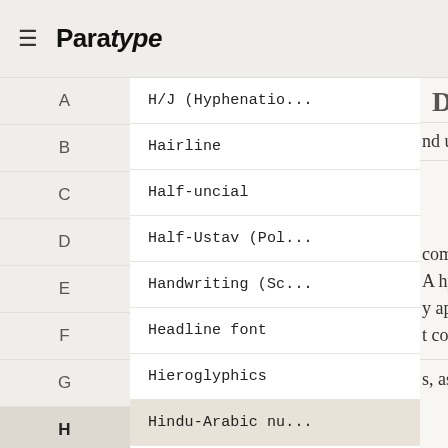≡ Paratype
A
H/J (Hyphenatio...
B
Hairline
C
Half-uncial
D
Half-Ustav (Pol...
E
Handwriting (Sc...
F
Headline font
G
Hieroglyphics
H
Hindu-Arabic nu...
I
Hint
J
Hinting
K
Hot-metal
L
Humanist
DOUBLE ACU
nd u in Hungarian and
compound words, such A hyphen is also used t y appear only between t compo-und is wrong.
s, as an aid to uniform